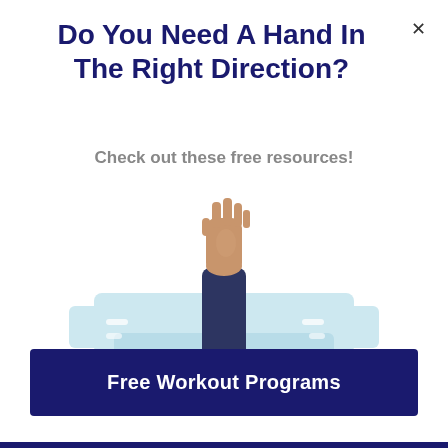Do You Need A Hand In The Right Direction?
Check out these free resources!
[Figure (illustration): A hand and arm in a dark navy suit sleeve reaching up from a light blue layered surface, representing needing help or direction]
Free Workout Programs